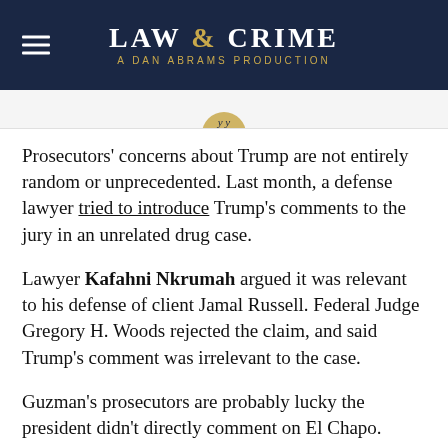LAW & CRIME — A DAN ABRAMS PRODUCTION
Prosecutors' concerns about Trump are not entirely random or unprecedented. Last month, a defense lawyer tried to introduce Trump's comments to the jury in an unrelated drug case.
Lawyer Kafahni Nkrumah argued it was relevant to his defense of client Jamal Russell. Federal Judge Gregory H. Woods rejected the claim, and said Trump's comment was irrelevant to the case.
Guzman's prosecutors are probably lucky the president didn't directly comment on El Chapo.